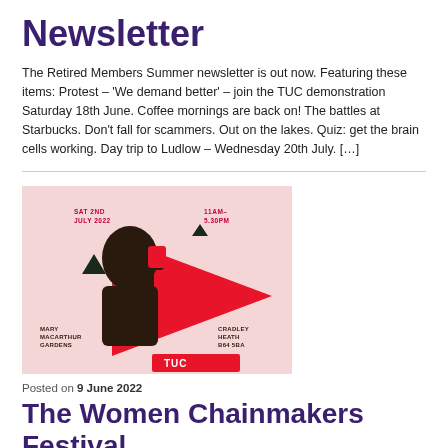Newsletter
The Retired Members Summer newsletter is out now. Featuring these items: Protest – 'We demand better' – join the TUC demonstration Saturday 18th June. Coffee mornings are back on! The battles at Starbucks. Don't fall for scammers. Out on the lakes. Quiz: get the brain cells working. Day trip to Ludlow – Wednesday 20th July. […]
[Figure (illustration): Event poster for TUC demonstration on Saturday 2nd July 2022, 11AM–5.30PM at Mary MacArthur Gardens, Cradley Heath B64 5BA. Pink background with silhouette of a woman and red geometric shapes. TUC logo at the bottom.]
Posted on 9 June 2022
The Women Chainmakers Festival